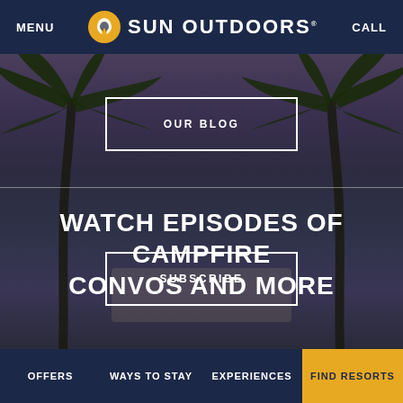MENU | SUN OUTDOORS | CALL
[Figure (photo): Background photo of palm trees at dusk with a resort pool area, with dark blue-purple overlay tones]
OUR BLOG
WATCH EPISODES OF CAMPFIRE CONVOS AND MORE
SUBSCRIBE
OFFERS | WAYS TO STAY | EXPERIENCES | FIND RESORTS